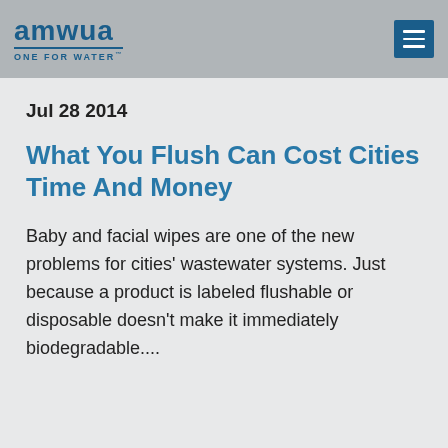[Figure (logo): AMWUA logo with text 'amwua' in blue and tagline 'ONE FOR WATER' below, with a hamburger menu button on the right]
Jul 28 2014
What You Flush Can Cost Cities Time And Money
Baby and facial wipes are one of the new problems for cities' wastewater systems. Just because a product is labeled flushable or disposable doesn't make it immediately biodegradable....